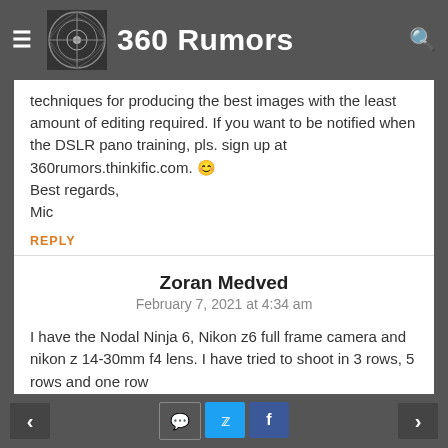360 Rumors
techniques for producing the best images with the least amount of editing required. If you want to be notified when the DSLR pano training, pls. sign up at 360rumors.thinkific.com. 😊
Best regards,
Mic
REPLY
Zoran Medved
February 7, 2021 at 4:34 am
I have the Nodal Ninja 6, Nikon z6 full frame camera and nikon z 14-30mm f4 lens. I have tried to shoot in 3 rows, 5 rows and one row
< [comment icon] [twitter icon] [facebook icon] >